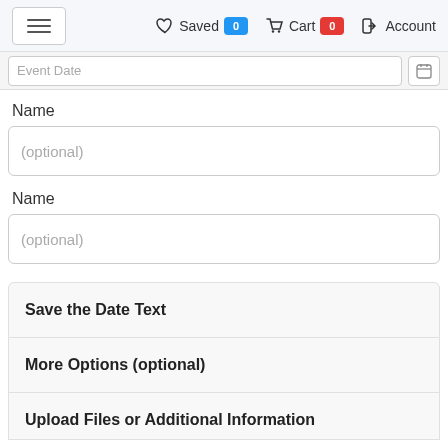☰  ♡ Saved 0  🛒 Cart 0  ➡ Account
Event Date (partially visible input)
Name
(optional)
Name
(optional)
Save the Date Text
More Options (optional)
Upload Files or Additional Information